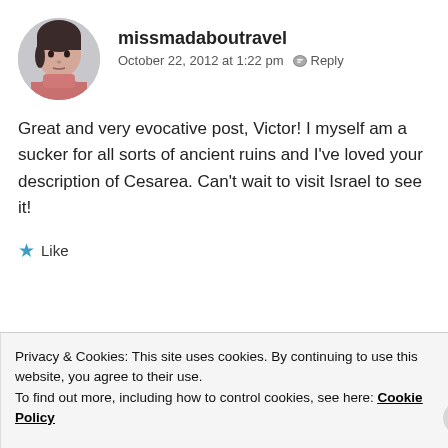[Figure (photo): Round avatar photo of missmadaboutravel, a young woman with short dark hair wearing a pink/coral scarf]
missmadaboutravel
October 22, 2012 at 1:22 pm  Reply
Great and very evocative post, Victor! I myself am a sucker for all sorts of ancient ruins and I've loved your description of Cesarea. Can't wait to visit Israel to see it!
Like
[Figure (photo): Round avatar photo of Victor Tribunsky, a man wearing a white captain's hat against a blue background]
Victor Tribunsky
Privacy & Cookies: This site uses cookies. By continuing to use this website, you agree to their use.
To find out more, including how to control cookies, see here: Cookie Policy
Close and accept